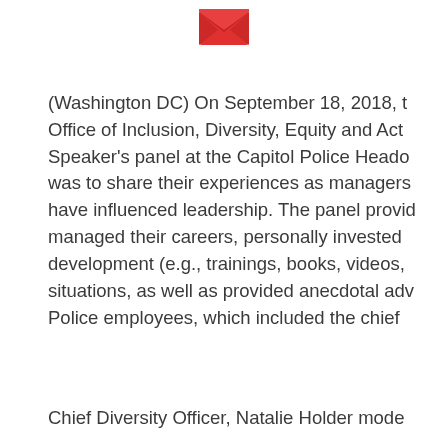[Figure (illustration): Red envelope icon centered at top of page]
(Washington DC) On September 18, 2018, the Office of Inclusion, Diversity, Equity and Act... Speaker's panel at the Capitol Police Heado... was to share their experiences as managers... have influenced leadership. The panel provid... managed their careers, personally invested ... development (e.g., trainings, books, videos, ... situations, as well as provided anecdotal adv... Police employees, which included the chief ...
Chief Diversity Officer, Natalie Holder mode...